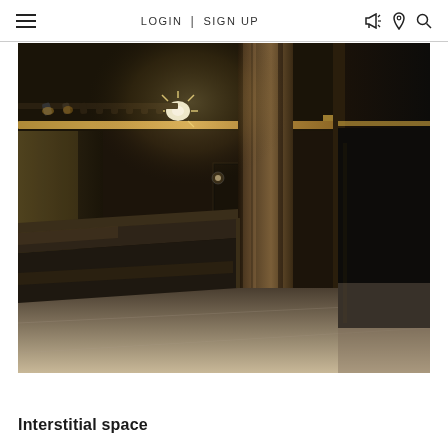LOGIN | SIGN UP
[Figure (photo): Dark interior architectural space with track lighting on ceiling, a long dark metal counter/bench, concrete or oxidized metal column in foreground, and glowing accent lights along the ceiling. Moody, dim atmosphere with warm golden ambient lighting contrasting dark walls and surfaces.]
Interstitial space